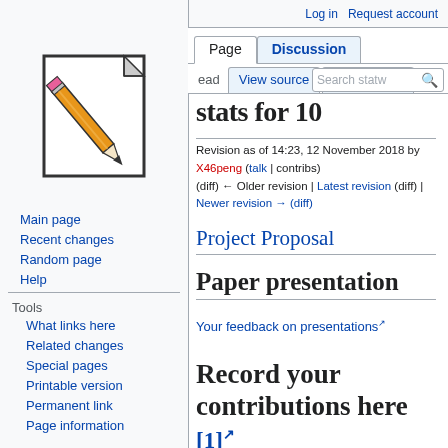Log in  Request account
[Figure (logo): MediaWiki wiki logo: a document page with a pencil overlaid]
Main page
Recent changes
Random page
Help
Tools
What links here
Related changes
Special pages
Printable version
Permanent link
Page information
stats for 10
Revision as of 14:23, 12 November 2018 by X46peng (talk | contribs) (diff) ← Older revision | Latest revision (diff) | Newer revision → (diff)
Project Proposal
Paper presentation
Your feedback on presentations
Record your contributions here [1]